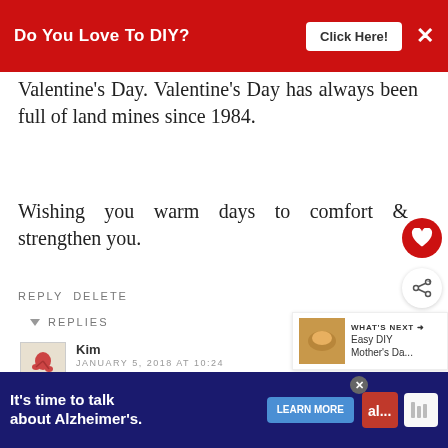[Figure (screenshot): Red advertisement banner at top: 'Do You Love To DIY?' with 'Click Here!' button and X close button]
Valentine's Day. Valentine's Day has always been full of land mines since 1984.
Wishing you warm days to comfort & strengthen you.
REPLY DELETE
▼ REPLIES
Kim
JANUARY 5, 2018 AT 10:24
Thank you, Jenny. I'm sorry for your own losses. I
[Figure (screenshot): WHAT'S NEXT box with image of food/dish and text 'Easy DIY Mother's Da...']
[Figure (screenshot): Bottom advertisement banner: 'It's time to talk about Alzheimer's.' with LEARN MORE button and Alzheimer's Association logo]